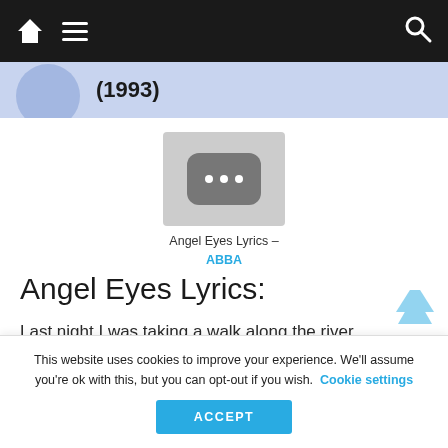(1993)
[Figure (screenshot): Thumbnail placeholder image with three white dots on grey rounded rectangle background, captioned 'Angel Eyes Lyrics – ABBA']
Angel Eyes Lyrics – ABBA
Angel Eyes Lyrics:
Last night I was taking a walk along the river
This website uses cookies to improve your experience. We'll assume you're ok with this, but you can opt-out if you wish.  Cookie settings  ACCEPT